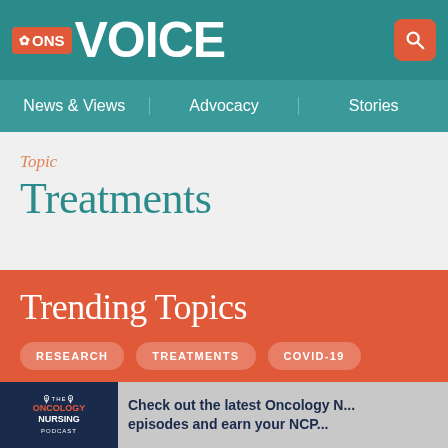ONS VOICE
News & Views | Advocacy | Stories
Topic
Treatments
Trending Topics
RESEARCH
TREATMENTS
COVID-19
Check out the latest Oncology N... episodes and earn your NCP...